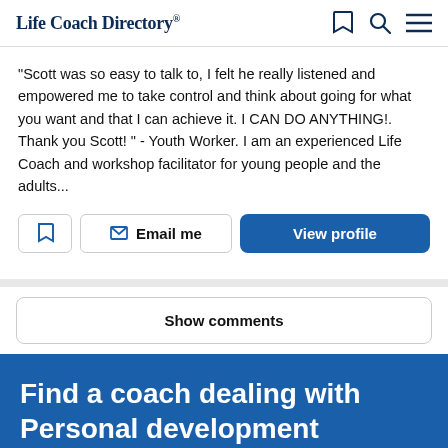Life Coach Directory
"Scott was so easy to talk to, I felt he really listened and empowered me to take control and think about going for what you want and that I can achieve it. I CAN DO ANYTHING!. Thank you Scott! " - Youth Worker. I am an experienced Life Coach and workshop facilitator for young people and the adults...
Email me
View profile
Show comments
Find a coach dealing with Personal development